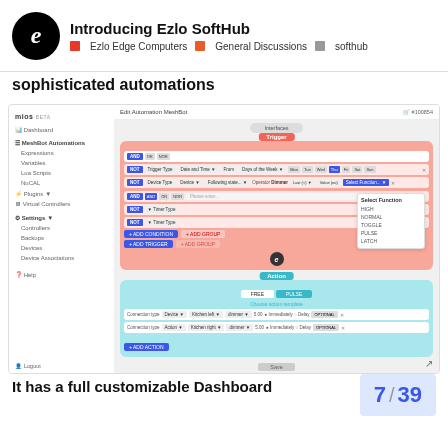Introducing Ezlo SoftHub | Ezlo Edge Computers | General Discussions | softhub
sophisticated automations
[Figure (screenshot): Screenshot of mios/Ezlo automation editor showing trigger and action configuration panels with a dropdown menu showing Select Function options including HIGH, NORMAL, TOGGLE, PULSE, LATCH]
It has a full customizable Dashboard
7 / 39